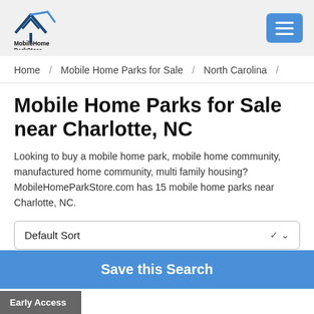[Figure (logo): MobileHomeParkStore logo with house/roof icon and company name]
Home / Mobile Home Parks for Sale / North Carolina /
Mobile Home Parks for Sale near Charlotte, NC
Looking to buy a mobile home park, mobile home community, manufactured home community, multi family housing? MobileHomeParkStore.com has 15 mobile home parks near Charlotte, NC.
Default Sort
Save this Search
Early Access